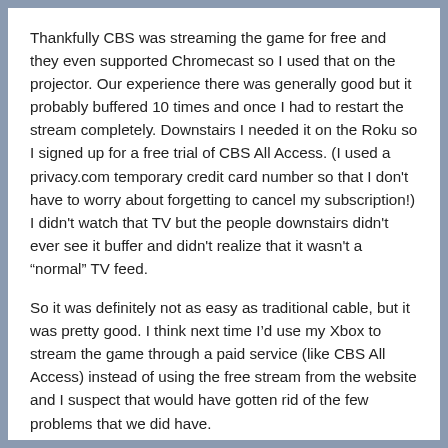Thankfully CBS was streaming the game for free and they even supported Chromecast so I used that on the projector. Our experience there was generally good but it probably buffered 10 times and once I had to restart the stream completely. Downstairs I needed it on the Roku so I signed up for a free trial of CBS All Access. (I used a privacy.com temporary credit card number so that I don't have to worry about forgetting to cancel my subscription!) I didn't watch that TV but the people downstairs didn't ever see it buffer and didn't realize that it wasn't a “normal” TV feed.
So it was definitely not as easy as traditional cable, but it was pretty good. I think next time I’d use my Xbox to stream the game through a paid service (like CBS All Access) instead of using the free stream from the website and I suspect that would have gotten rid of the few problems that we did have.
benmartens   February 5, 2019   Gadgets